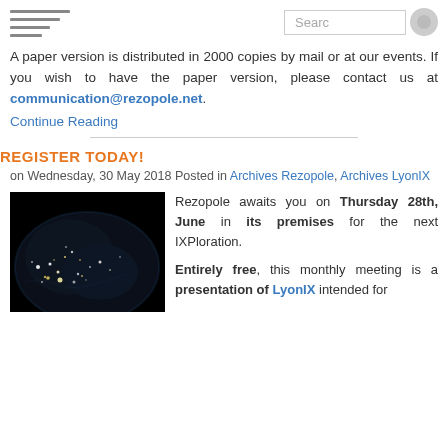[hamburger menu icon] [Search box] [search button]
A paper version is distributed in 2000 copies by mail or at our events. If you wish to have the paper version, please contact us at communication@rezopole.net.
Continue Reading
REGISTER TODAY!
on Wednesday, 30 May 2018 Posted in Archives Rezopole, Archives LyonIX
[Figure (photo): Night view of Earth from space showing city lights, particularly visible along coastlines and populated areas. Dark background with clusters of bright lights.]
Rezopole awaits you on Thursday 28th, June in its premises for the next IXPloration.

Entirely free, this monthly meeting is a presentation of LyonIX intended for